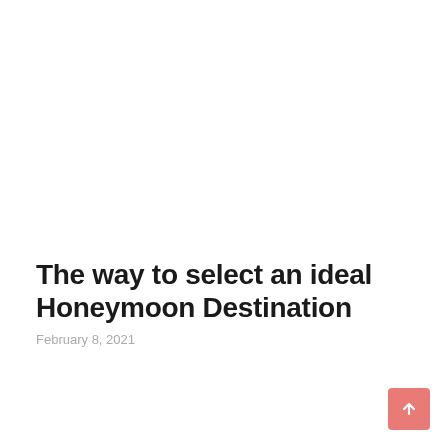The way to select an ideal Honeymoon Destination
February 8, 2021